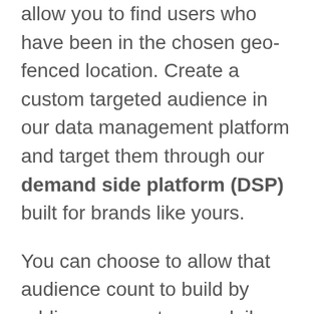allow you to find users who have been in the chosen geo-fenced location. Create a custom targeted audience in our data management platform and target them through our demand side platform (DSP) built for brands like yours.
You can choose to allow that audience count to build by adding new customers daily, weekly, monthly or whatever means the most for your conversions. If you have targeted everyone at a convention, then of course, you would keep the audience to just those dates that you selected. You may also find it useful to only have an audience from people at the location...